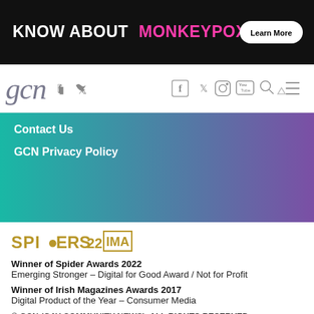[Figure (other): Advertisement banner: black background with text 'KNOW ABOUT MONKEYPOX?' in white and pink, with a 'Learn More' button]
gcn — website header with social media icons (Facebook, Twitter, Instagram, YouTube) and search/menu icons
Contact Us
GCN Privacy Policy
[Figure (logo): SPIDERS22 and IMA award logos in gold]
Winner of Spider Awards 2022
Emerging Stronger – Digital for Good Award / Not for Profit
Winner of Irish Magazines Awards 2017
Digital Product of the Year – Consumer Media
© GCN (GAY COMMUNITY NEWS). ALL RIGHTS RESERVED.
Use of this site constitutes acceptance of our Privacy Policy and Cookie Policy. The material on this site may not be reproduced, distributed, transmitted, cached or otherwise used, except with the prior written permission of GCN.
Site design and development: Viralbambo Ltd. Hosted in Ireland by Spiral Hosting.